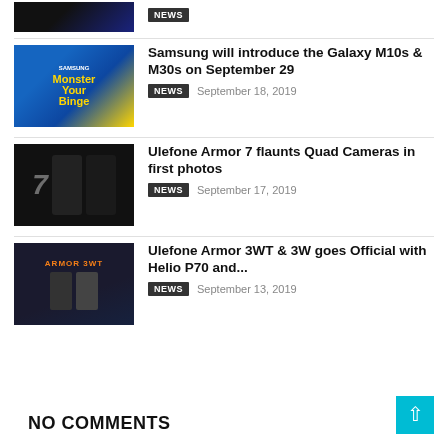[Figure (photo): Partial phone image at top, cropped]
[Figure (photo): Samsung Galaxy M30s advertisement showing Monster Your Binge with yellow and blue design]
Samsung will introduce the Galaxy M10s & M30s on September 29
NEWS   September 18, 2019
[Figure (photo): Ulefone Armor 7 phone shown from multiple angles on dark background]
Ulefone Armor 7 flaunts Quad Cameras in first photos
NEWS   September 17, 2019
[Figure (photo): Ulefone Armor 3WT advertisement on dark background with product specs]
Ulefone Armor 3WT & 3W goes Official with Helio P70 and...
NEWS   September 13, 2019
NO COMMENTS